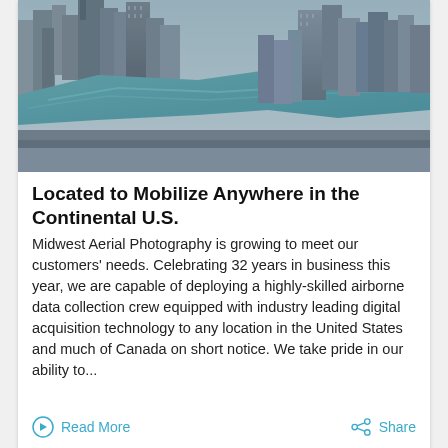[Figure (photo): Aerial view of a city skyline with skyscrapers and a river winding through downtown, viewed from above at an angle.]
Located to Mobilize Anywhere in the Continental U.S.
Midwest Aerial Photography is growing to meet our customers' needs. Celebrating 32 years in business this year, we are capable of deploying a highly-skilled airborne data collection crew equipped with industry leading digital acquisition technology to any location in the United States and much of Canada on short notice. We take pride in our ability to...
Read More
Share